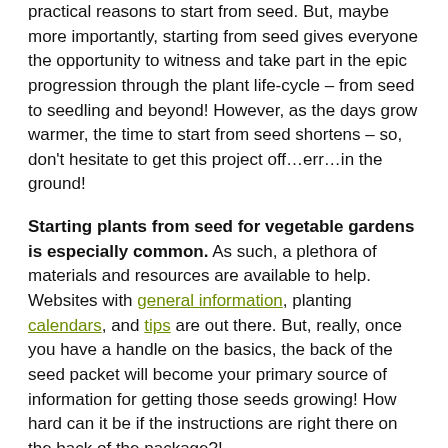practical reasons to start from seed. But, maybe more importantly, starting from seed gives everyone the opportunity to witness and take part in the epic progression through the plant life-cycle – from seed to seedling and beyond! However, as the days grow warmer, the time to start from seed shortens – so, don't hesitate to get this project off…err…in the ground!
Starting plants from seed for vegetable gardens is especially common. As such, a plethora of materials and resources are available to help. Websites with general information, planting calendars, and tips are out there. But, really, once you have a handle on the basics, the back of the seed packet will become your primary source of information for getting those seeds growing! How hard can it be if the instructions are right there on the back of the package?!
Perhaps, inspired by a previous post, you took the time to plan out your vegetable garden. Great! Now is good time to double-check and ensure you are set up for